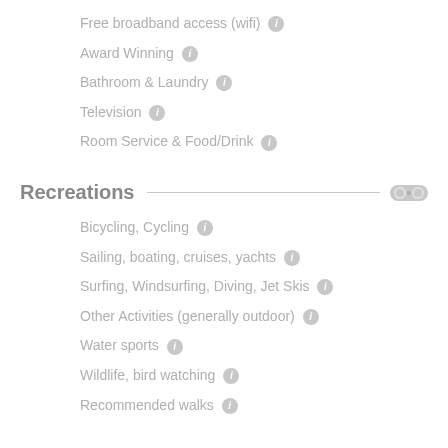Free broadband access (wifi) ℹ
Award Winning ℹ
Bathroom & Laundry ℹ
Television ℹ
Room Service & Food/Drink ℹ
Recreations
Bicycling, Cycling ℹ
Sailing, boating, cruises, yachts ℹ
Surfing, Windsurfing, Diving, Jet Skis ℹ
Other Activities (generally outdoor) ℹ
Water sports ℹ
Wildlife, bird watching ℹ
Recommended walks ℹ